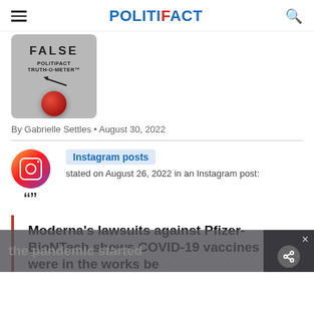POLITIFACT
[Figure (illustration): PolitiFact Truth-O-Meter showing FALSE rating with a red button indicator]
By Gabrielle Settles • August 30, 2022
Instagram posts stated on August 26, 2022 in an Instagram post:
Moderna's lawsuits against Pfizer-BioNTech shows COVID-19 vaccines were in the works before the pandemic started